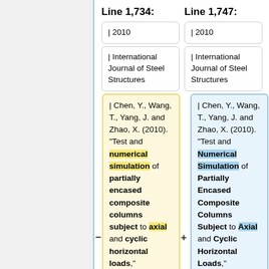Line 1,734:
Line 1,747:
| 2010
| 2010
| International Journal of Steel Structures
| International Journal of Steel Structures
| Chen, Y., Wang, T., Yang, J. and Zhao, X. (2010). “Test and numerical simulation of partially encased composite columns subject to axial and cyclic horizontal loads,” International Journal of Steel
| Chen, Y., Wang, T., Yang, J. and Zhao, X. (2010). “Test and Numerical Simulation of Partially Encased Composite Columns Subject to Axial and Cyclic Horizontal Loads,” International Journal of Steel